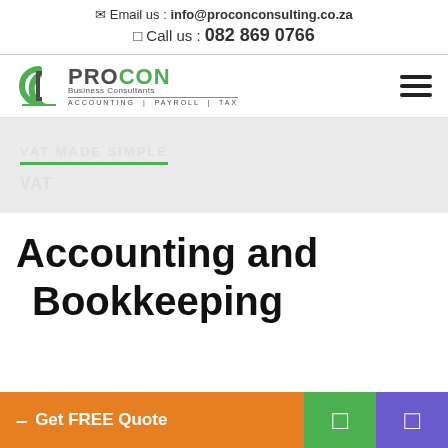Email us : info@proconconsulting.co.za
Call us : 082 869 0766
[Figure (logo): ProCon Business Consultants logo with PC icon, text PROCON in dark/green, Business Consultants subtitle, tagline ACCOUNTING | PAYROLL | TAX]
VAT MADE SIMPLE
VAT
Accounting and Bookkeeping
- Get FREE Quote